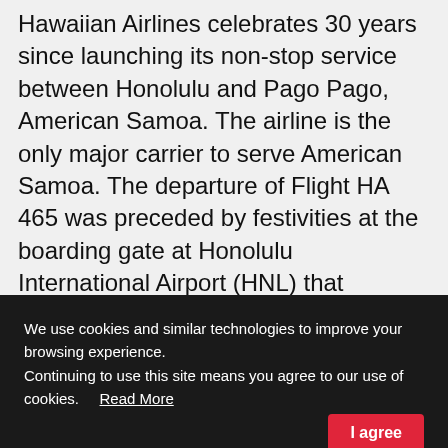Hawaiian Airlines celebrates 30 years since launching its non-stop service between Honolulu and Pago Pago, American Samoa. The airline is the only major carrier to serve American Samoa. The departure of Flight HA 465 was preceded by festivities at the boarding gate at Honolulu International Airport (HNL) that included live Hawaiian music and presentation of kukui nut lei to more than 200 guests boarding the flight. A Samoan speaking crew serviced the … [Read more...]
We use cookies and similar technologies to improve your browsing experience. Continuing to use this site means you agree to our use of cookies.   Read More